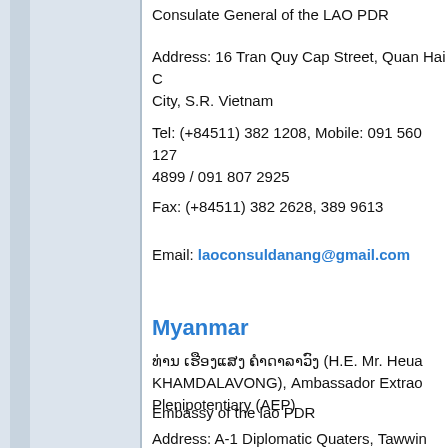Consulate General of the LAO PDR
Address: 16 Tran Quy Cap Street, Quan Hai City, S.R. Vietnam
Tel: (+84511) 382 1208, Mobile: 091 560 1272 4899 / 091 807 2925
Fax: (+84511) 382 2628, 389 9613
Email: laoconsuldanang@gmail.com
Myanmar
ທ່ານ ເຮືອງແສງ ຄໍາດາລາວົງ (H.E. Mr. Heua KHAMDALAVONG), Ambassador Extraordinary Plenipotentiary (AEP)
Embassy of the lao PDR
Address: A-1 Diplomatic Quaters, Tawwin Ro Myanmar